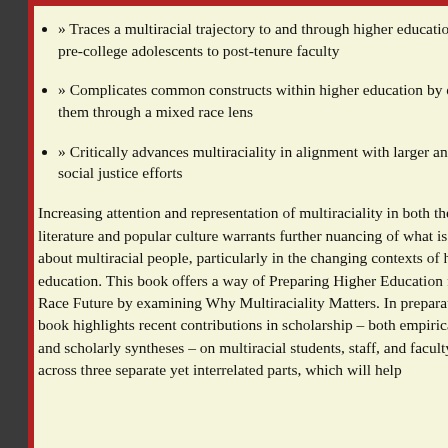» Traces a multiracial trajectory to and through higher education – from pre-college adolescents to post-tenure faculty
» Complicates common constructs within higher education by examining them through a mixed race lens
» Critically advances multiraciality in alignment with larger anti-racist and social justice efforts
Increasing attention and representation of multiraciality in both the scholarly literature and popular culture warrants further nuancing of what is understood about multiracial people, particularly in the changing contexts of higher education. This book offers a way of Preparing Higher Education for its Mixed Race Future by examining Why Multiraciality Matters. In preparation, the book highlights recent contributions in scholarship – both empirical studies and scholarly syntheses – on multiracial students, staff, and faculty/scholars across three separate yet interrelated parts, which will help